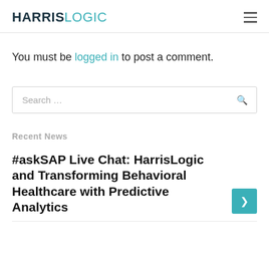HARRISLOGIC
You must be logged in to post a comment.
Search ...
Recent News
#askSAP Live Chat: HarrisLogic and Transforming Behavioral Healthcare with Predictive Analytics